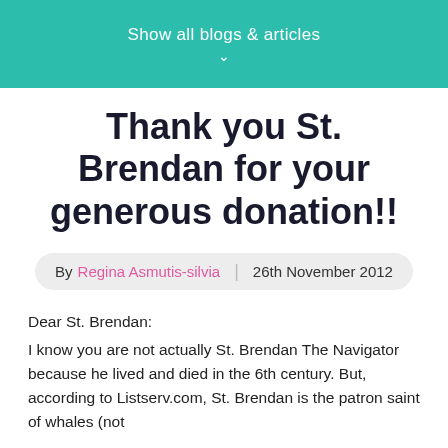Show all blogs & articles
Thank you St. Brendan for your generous donation!!
By Regina Asmutis-silvia | 26th November 2012
Dear St. Brendan:
I know you are not actually St. Brendan The Navigator because he lived and died in the 6th century.  But, according to Listserv.com,  St. Brendan is the patron saint of whales (not